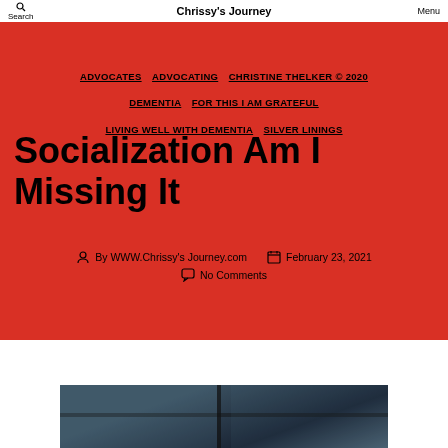Search | Chrissy's Journey | Menu
ADVOCATES
ADVOCATING
CHRISTINE THELKER © 2020
DEMENTIA
FOR THIS I AM GRATEFUL
LIVING WELL WITH DEMENTIA
SILVER LININGS
Socialization Am I Missing It
By WWW.Chrissy's Journey.com   February 23, 2021   No Comments
[Figure (photo): Partial view of a person looking through a window, dark/moody tones]